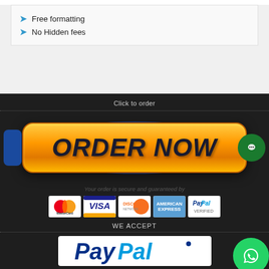Free formatting
No Hidden fees
Click to order
[Figure (other): Orange ORDER NOW button with dark text, blue oval shadow, left blue handle tab, and green chat bubble on right]
Your order is secure and guaranteed by
[Figure (other): Payment icons row: MasterCard, Visa, Discover, American Express, PayPal]
WE ACCEPT
[Figure (logo): PayPal logo in blue on white background]